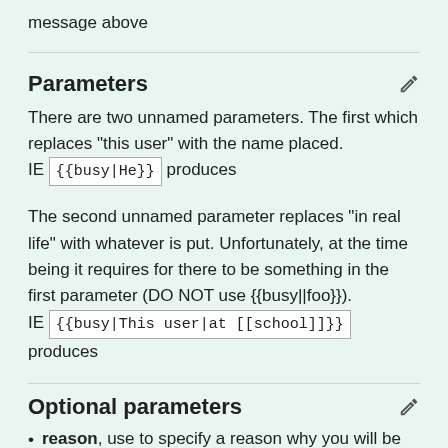message above
Parameters
There are two unnamed parameters. The first which replaces "this user" with the name placed.
IE {{busy|He}} produces
The second unnamed parameter replaces "in real life" with whatever is put. Unfortunately, at the time being it requires for there to be something in the first parameter (DO NOT use {{busy||foo}}).
IE {{busy|This user|at [[school]]}} produces
Optional parameters
reason, use to specify a reason why you will be busy.